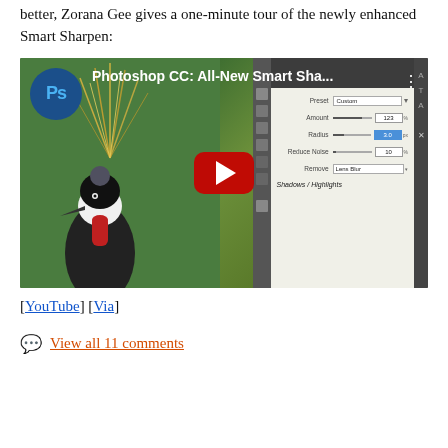better, Zorana Gee gives a one-minute tour of the newly enhanced Smart Sharpen:
[Figure (screenshot): YouTube video thumbnail showing Photoshop CC: All-New Smart Sha... with a crowned crane bird on the left and Photoshop Smart Sharpen panel on the right, with a red YouTube play button in the center.]
[YouTube] [Via]
View all 11 comments